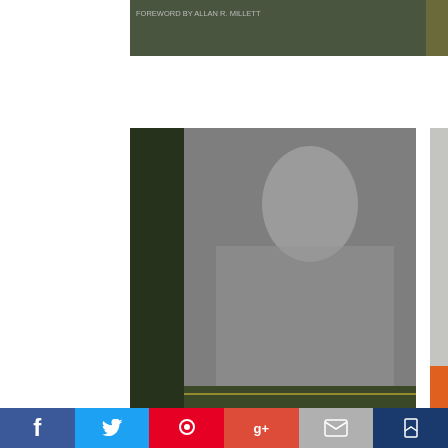[Figure (photo): Partial book cover visible at top left, cropped]
[Figure (photo): Partial book cover visible at top right edge, cropped]
[Figure (photo): Book cover: Memoir of a Cold War Soldier by Richard E. Mack, dark olive green with photo of soldier]
Memoir of a Cold War Soldier
Richard E. Mack
[Figure (photo): Partial book cover at right edge: orange/white book, partially visible]
[Figure (photo): Book cover: Nightmare on Iwo Jima - A Marine in Combat by Patrick F. Caruso, beige with sepia soldiers image]
Nightmare on Iwo Jima
A Marine in Combat
Patrick F. Caruso
[Figure (photo): Partial book cover at bottom right, dark with soldiers]
Social sharing bar with Facebook, Twitter, Pinterest, Google+, email, bookmark buttons